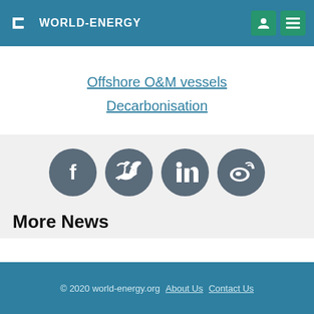WORLD-ENERGY
Offshore O&M vessels
Decarbonisation
[Figure (infographic): Social media icons: Facebook, Twitter, LinkedIn, Weibo — circular dark grey buttons]
More News
[Figure (other): Loading spinner icon]
© 2020 world-energy.org  About Us  Contact Us